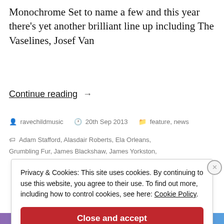Monochrome Set to name a few and this year there's yet another brilliant line up including The Vaselines, Josef Van
Continue reading →
ravechildmusic  20th Sep 2013  feature, news  Adam Stafford, Alasdair Roberts, Ela Orleans, Grumbling Fur, James Blackshaw, James Yorkston,
Privacy & Cookies: This site uses cookies. By continuing to use this website, you agree to their use. To find out more, including how to control cookies, see here: Cookie Policy
Close and accept